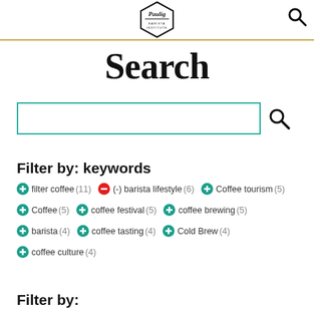Paulig Barista Institute logo and search icon
Search
[Figure (screenshot): Search input box with teal border and search icon button]
Filter by: keywords
filter coffee (11)
(-) barista lifestyle (6)
Coffee tourism (5)
Coffee (5)
coffee festival (5)
coffee brewing (5)
barista (4)
coffee tasting (4)
Cold Brew (4)
coffee culture (4)
Filter by: